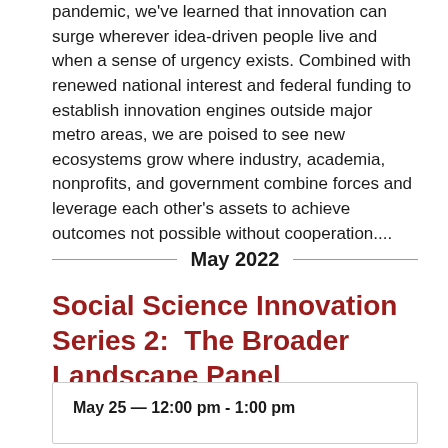pandemic, we've learned that innovation can surge wherever idea-driven people live and when a sense of urgency exists. Combined with renewed national interest and federal funding to establish innovation engines outside major metro areas, we are poised to see new ecosystems grow where industry, academia, nonprofits, and government combine forces and leverage each other's assets to achieve outcomes not possible without cooperation....
May 2022
Social Science Innovation Series 2:  The Broader Landscape Panel
May 25 — 12:00 pm - 1:00 pm